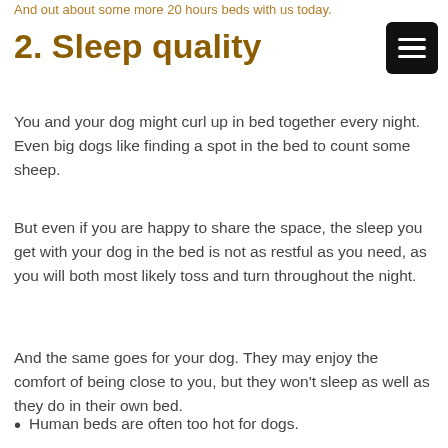And out about some more 20 hours beds with us today.
2. Sleep quality
You and your dog might curl up in bed together every night. Even big dogs like finding a spot in the bed to count some sheep.
But even if you are happy to share the space, the sleep you get with your dog in the bed is not as restful as you need, as you will both most likely toss and turn throughout the night.
And the same goes for your dog. They may enjoy the comfort of being close to you, but they won't sleep as well as they do in their own bed.
Human beds are often too hot for dogs.